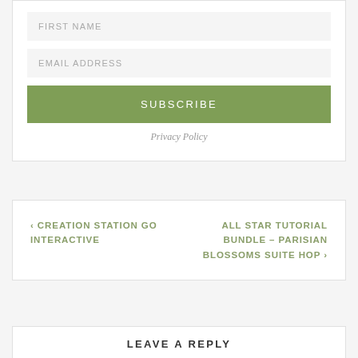FIRST NAME
EMAIL ADDRESS
SUBSCRIBE
Privacy Policy
‹ CREATION STATION GO INTERACTIVE
ALL STAR TUTORIAL BUNDLE – PARISIAN BLOSSOMS SUITE HOP ›
LEAVE A REPLY